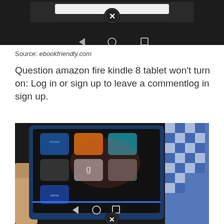[Figure (screenshot): Screenshot of a mobile browser with a close (X) button overlay and navigation bar at the bottom showing back, home, and recents icons on a dark background]
Source: ebookfriendly.com
Question amazon fire kindle 8 tablet won’t turn on: Log in or sign up to leave a commentlog in sign up.
[Figure (photo): Photo of an Amazon Fire Kindle 8 tablet being held, showing the home screen with app icons and a blue navigation bar, next to a blue and white checkered fabric. A close (X) button overlay appears at the bottom.]